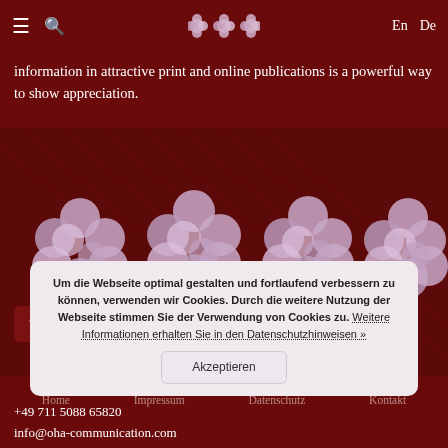≡ 🔍   oba   En  De
information in attractive print and online publications is a powerful way to show appreciation.
[Figure (illustration): Four clusters of pink/purple 3D rendered molecular or flower-like blob structures arranged in a row on a dark burgundy background.]
Um die Webseite optimal gestalten und fortlaufend verbessern zu können, verwenden wir Cookies. Durch die weitere Nutzung der Webseite stimmen Sie der Verwendung von Cookies zu. Weitere Informationen erhalten Sie in den Datenschutzhinweisen »
Akzeptieren
Home   Impressum   Datenschutz   Kontakt
+49 711 5088 65820
info@oha-communication.com